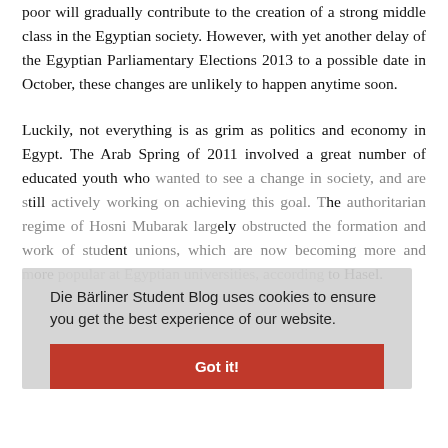poor will gradually contribute to the creation of a strong middle class in the Egyptian society. However, with yet another delay of the Egyptian Parliamentary Elections 2013 to a possible date in October, these changes are unlikely to happen anytime soon.
Luckily, not everything is as grim as politics and economy in Egypt. The Arab Spring of 2011 involved a great number of educated youth who wanted to see a change in society, and are still actively working on achieving this goal. The authoritarian regime of Hosni Mubarak largely obstructed the formation and work of student unions, which are now becoming more and more popular at Egyptian universities, according to Hasel.
Die Bärliner Student Blog uses cookies to ensure you get the best experience of our website.
Got it!